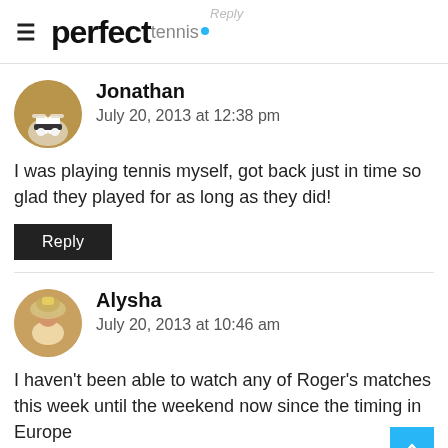perfect tennis.
Jonathan
July 20, 2013 at 12:38 pm
I was playing tennis myself, got back just in time so glad they played for as long as they did!
Reply
Alysha
July 20, 2013 at 10:46 am
I haven't been able to watch any of Roger's matches this week until the weekend now since the timing in Europe